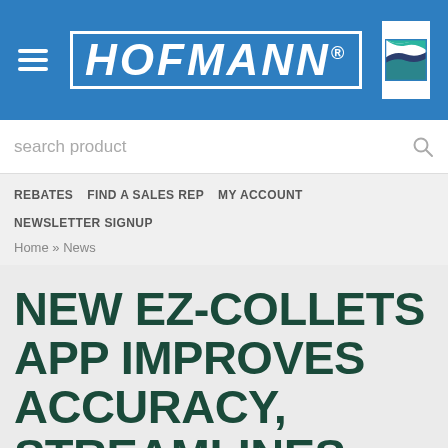[Figure (logo): Hofmann logo with hamburger menu icon and teal wave graphic on blue header background]
search product
REBATES  FIND A SALES REP  MY ACCOUNT  NEWSLETTER SIGNUP
Home » News
NEW EZ-COLLETS APP IMPROVES ACCURACY, STREAMLINES TOOL SELECTION FOR